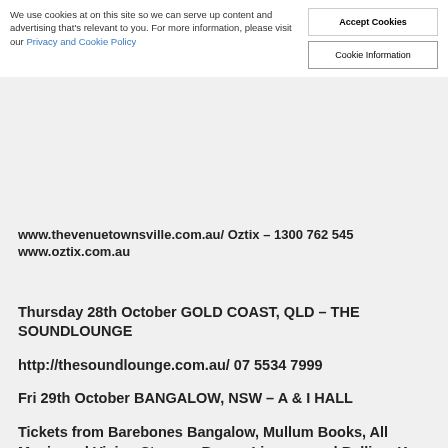We use cookies at on this site so we can serve up content and advertising that's relevant to you. For more information, please visit our Privacy and Cookie Policy
Accept Cookies
Cookie Information
www.thevenuetownsville.com.au/ Oztix – 1300 762 545 www.oztix.com.au
Thursday 28th October GOLD COAST, QLD – THE SOUNDLOUNGE
http://thesoundlounge.com.au/ 07 5534 7999
Fri 29th October BANGALOW, NSW – A & I HALL
Tickets from Barebones Bangalow, Mullum Books, All Music and Vision Stores – Byron, Lismore and Ballina. Ku Promotions Ph: 026619